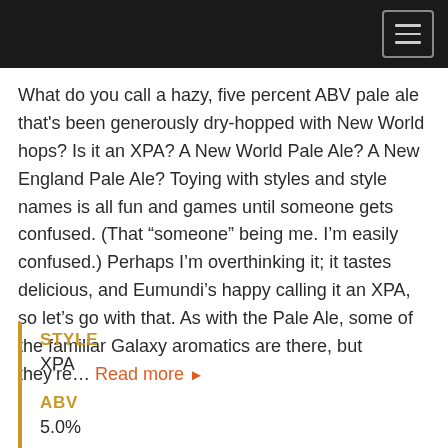What do you call a hazy, five percent ABV pale ale that's been generously dry-hopped with New World hops? Is it an XPA? A New World Pale Ale? A New England Pale Ale? Toying with styles and style names is all fun and games until someone gets confused. (That “someone” being me. I’m easily confused.) Perhaps I’m overthinking it; it tastes delicious, and Eumundi’s happy calling it an XPA, so let’s go with that. As with the Pale Ale, some of the familiar Galaxy aromatics are there, but they’re... Read more ▶
STYLE
XPA
ABV
5.0%